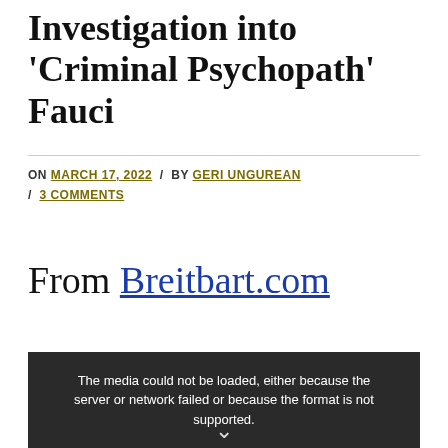Investigation into 'Criminal Psychopath' Fauci
ON MARCH 17, 2022 / BY GERI UNGUREAN / 3 COMMENTS
From Breitbart.com
[Figure (screenshot): Video player with error message: The media could not be loaded, either because the server or network failed or because the format is not supported.]